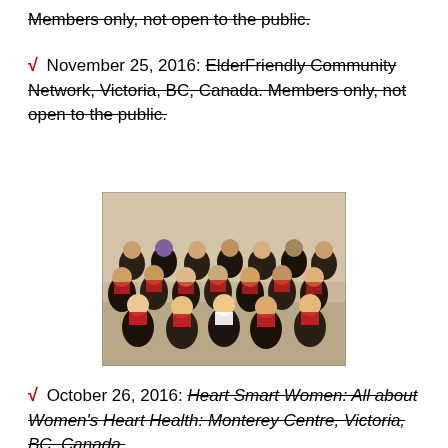Members only, not open to the public.
✓ November 25, 2016: ElderFriendly Community Network, Victoria, BC, Canada. Members only, not open to the public.
[Figure (photo): Group photo of people seated in rows at an event or presentation, wearing name tags or signs]
✓ October 26, 2016: Heart Smart Women: All about Women's Heart Health: Monterey Centre, Victoria, BC, Canada.
✓ October 12, 2016: luncheon presentation, Victoria Newcomers Club, Victoria Golf Club, 1110 Beach Drive, Victoria, BC, Canada. Members only, not open to the public.